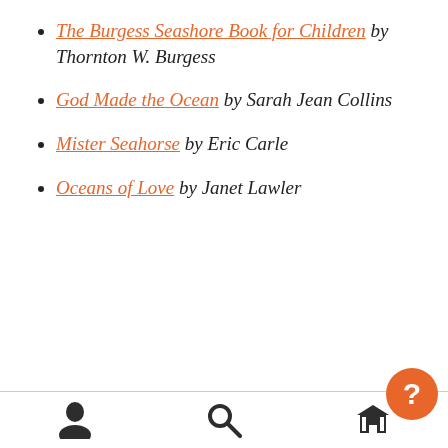The Burgess Seashore Book for Children by Thornton W. Burgess
God Made the Ocean by Sarah Jean Collins
Mister Seahorse by Eric Carle
Oceans of Love by Janet Lawler
Navigation bar with person, search, library, and help icons